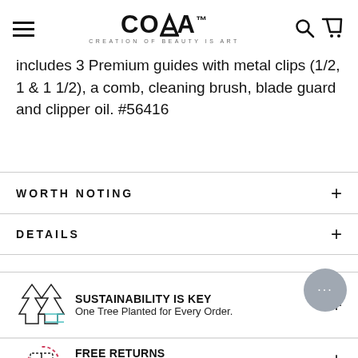COBIA — CREATION OF BEAUTY IS ART
includes 3 Premium guides with metal clips (1/2, 1 & 1 1/2), a comb, cleaning brush, blade guard and clipper oil. #56416
WORTH NOTING
DETAILS
SUSTAINABILITY IS KEY
One Tree Planted for Every Order.
FREE RETURNS
For 60 Days.